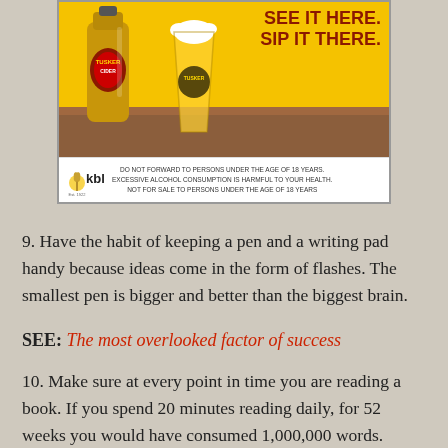[Figure (photo): Tusker Cider advertisement showing a Tusker beer bottle and a full glass of golden beer on a wooden table against a yellow background. Text reads 'SEE IT HERE. SIP IT THERE.' with KBL logo and disclaimer at the bottom.]
9. Have the habit of keeping a pen and a writing pad handy because ideas come in the form of flashes. The smallest pen is bigger and better than the biggest brain.
SEE: The most overlooked factor of success
10. Make sure at every point in time you are reading a book. If you spend 20 minutes reading daily, for 52 weeks you would have consumed 1,000,000 words.